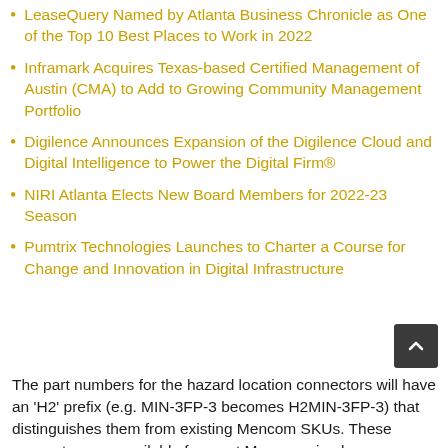LeaseQuery Named by Atlanta Business Chronicle as One of the Top 10 Best Places to Work in 2022
Inframark Acquires Texas-based Certified Management of Austin (CMA) to Add to Growing Community Management Portfolio
Digilence Announces Expansion of the Digilence Cloud and Digital Intelligence to Power the Digital Firm®
NIRI Atlanta Elects New Board Members for 2022-23 Season
Pumtrix Technologies Launches to Charter a Course for Change and Innovation in Digital Infrastructure
The part numbers for the hazard location connectors will have an 'H2' prefix (e.g. MIN-3FP-3 becomes H2MIN-3FP-3) that distinguishes them from existing Mencom SKUs. These connectors are available for most Mencom circular